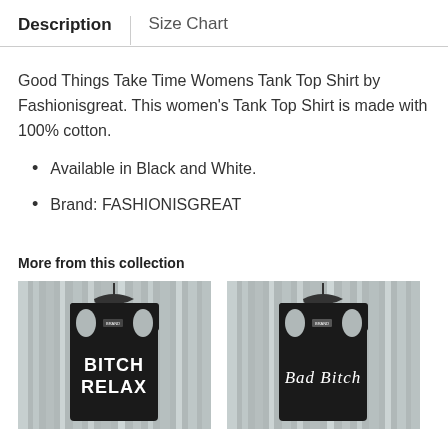Description | Size Chart
Good Things Take Time Womens Tank Top Shirt by Fashionisgreat. This women's Tank Top Shirt is made with 100% cotton.
Available in Black and White.
Brand: FASHIONISGREAT
More from this collection
[Figure (photo): Black tank top with BITCH RELAX text on silver tinsel background]
[Figure (photo): Black tank top with Bad Bitch text on silver tinsel background]